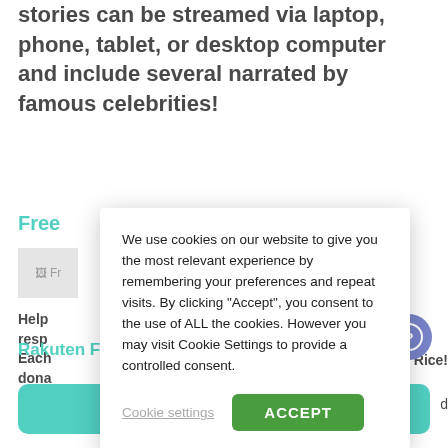stories can be streamed via laptop, phone, tablet, or desktop computer and include several narrated by famous celebrities!
Free
[Figure (illustration): Broken image placeholder labeled Fr]
Help resp Each dona Nati enou Rice!  d
[Figure (screenshot): Cookie consent dialog overlay with text: We use cookies on our website to give you the most relevant experience by remembering your preferences and repeat visits. By clicking "Accept", you consent to the use of ALL the cookies. However you may visit Cookie Settings to provide a controlled consent. Buttons: Cookie settings | ACCEPT]
Rakuten Family TV
Get the app